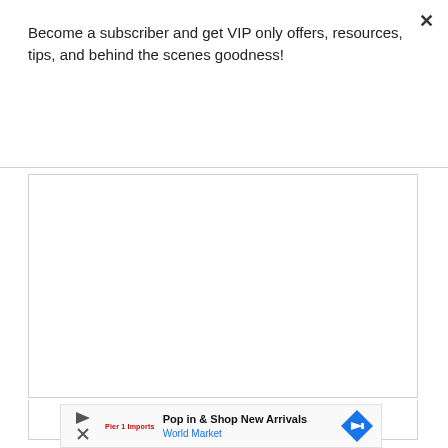Become a subscriber and get VIP only offers, resources, tips, and behind the scenes goodness!
Subscribe
[Figure (other): Large white bordered content placeholder box]
Cookie Monster!!!
[Figure (other): Advertisement banner: Pop in & Shop New Arrivals - World Market with navigation icon]